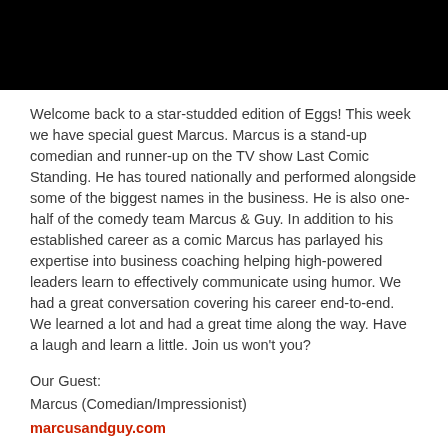[Figure (other): Black bar at top of page]
Welcome back to a star-studded edition of Eggs! This week we have special guest Marcus. Marcus is a stand-up comedian and runner-up on the TV show Last Comic Standing. He has toured nationally and performed alongside some of the biggest names in the business. He is also one-half of the comedy team Marcus & Guy. In addition to his established career as a comic Marcus has parlayed his expertise into business coaching helping high-powered leaders learn to effectively communicate using humor. We had a great conversation covering his career end-to-end. We learned a lot and had a great time along the way. Have a laugh and learn a little. Join us won't you?
Our Guest:
Marcus (Comedian/Impressionist)
marcusandguy.com
Twitter @comedianmarcus
Credits:
Hosted by Michael Smith and Ryan Roghaar